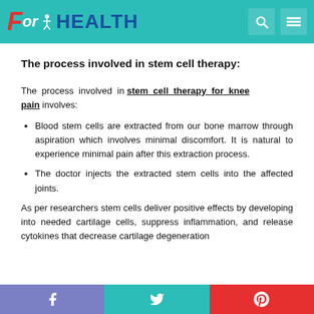ForHEALTH
The process involved in stem cell therapy:
The process involved in stem cell therapy for knee pain involves:
Blood stem cells are extracted from our bone marrow through aspiration which involves minimal discomfort. It is natural to experience minimal pain after this extraction process.
The doctor injects the extracted stem cells into the affected joints.
As per researchers stem cells deliver positive effects by developing into needed cartilage cells, suppress inflammation, and release cytokines that decrease cartilage degeneration
Facebook | Twitter | Pinterest